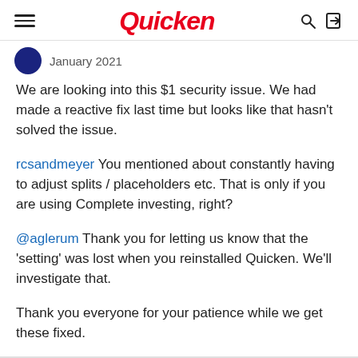Quicken
January 2021
We are looking into this $1 security issue. We had made a reactive fix last time but looks like that hasn't solved the issue.
rcsandmeyer You mentioned about constantly having to adjust splits / placeholders etc. That is only if you are using Complete investing, right?
@aglerum Thank you for letting us know that the 'setting' was lost when you reinstalled Quicken. We'll investigate that.
Thank you everyone for your patience while we get these fixed.